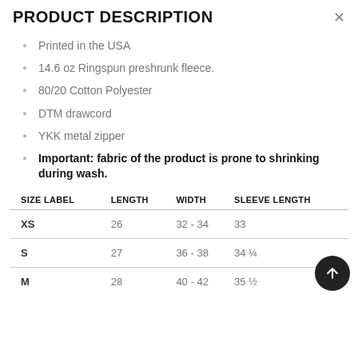PRODUCT DESCRIPTION
Printed in the USA
14.6 oz Ringspun preshrunk fleece.
80/20 Cotton Polyester
DTM drawcord
YKK metal zipper
Important: fabric of the product is prone to shrinking during wash.
| SIZE LABEL | LENGTH | WIDTH | SLEEVE LENGTH |
| --- | --- | --- | --- |
| XS | 26 | 32 - 34 | 33 |
| S | 27 | 36 - 38 | 34 ¼ |
| M | 28 | 40 - 42 | 35 ½ |